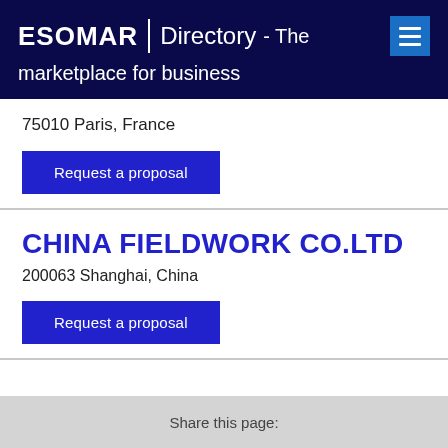ESOMAR | Directory - The marketplace for business
75010 Paris, France
Request a proposal
CHINA FIELDWORK CO.LTD
200063 Shanghai, China
Request a proposal
Share this page: